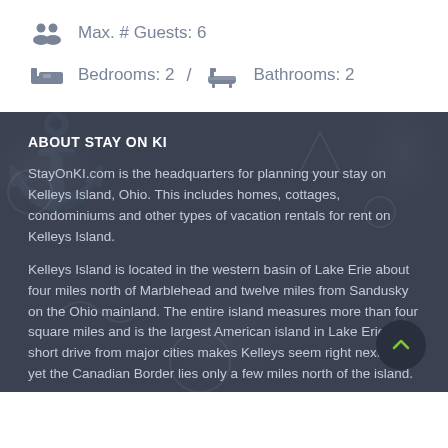Max. # Guests: 6
Bedrooms: 2 / Bathrooms: 2
ABOUT STAY ON KI
StayOnKI.com is the headquarters for planning your stay on Kelleys Island, Ohio. This includes homes, cottages, condominiums and other types of vacation rentals for rent on Kelleys Island.
Kelleys Island is located in the western basin of Lake Erie about four miles north of Marblehead and twelve miles from Sandusky on the Ohio mainland. The entire island measures more than four square miles and is the largest American island in Lake Erie. A short drive from major cities makes Kelleys seem right next door, yet the Canadian Border lies only a few miles north of the island.